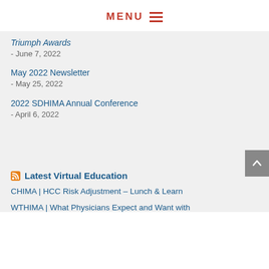MENU
Triumph Awards - June 7, 2022
May 2022 Newsletter - May 25, 2022
2022 SDHIMA Annual Conference - April 6, 2022
Latest Virtual Education
CHIMA | HCC Risk Adjustment – Lunch & Learn
WTHIMA | What Physicians Expect and Want with